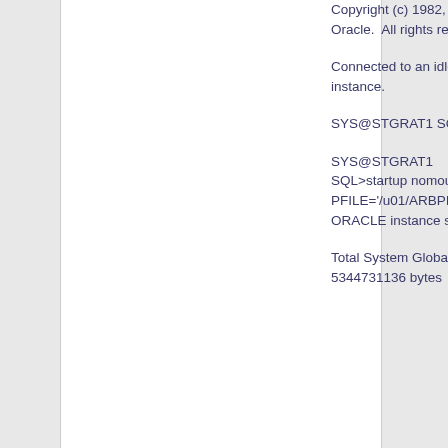Copyright (c) 1982, 2009, Oracle.  All rights reserved.
Connected to an idle instance.
SYS@STGRAT1 SQL>
SYS@STGRAT1 SQL>startup nomount PFILE='/u01/ARBPI ORACLE instance started.
Total System Global Area 5344731136 bytes